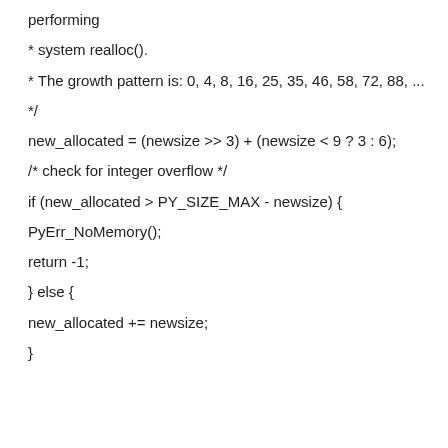performing
* system realloc().
* The growth pattern is: 0, 4, 8, 16, 25, 35, 46, 58, 72, 88, ...
*/
new_allocated = (newsize >> 3) + (newsize < 9 ? 3 : 6);
/* check for integer overflow */
if (new_allocated > PY_SIZE_MAX - newsize) {
PyErr_NoMemory();
return -1;
} else {
new_allocated += newsize;
}